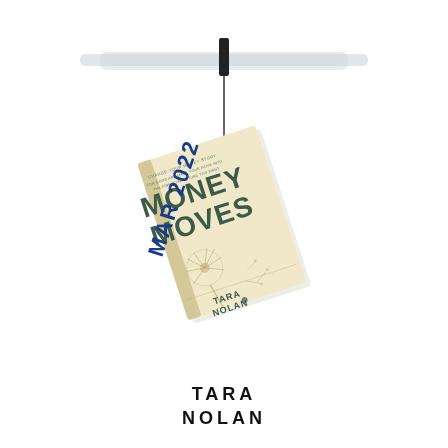[Figure (illustration): Illustrated book cover of 'Money Moves' by Tara Nolan, shown tilted and hanging from a clip on a thin wire attached to a horizontal bar. The book has a cream/beige cover with a dandelion illustration. A 'MAR 2022' label appears in blue bold text diagonally on the left side of the book. The background is white.]
TARA NOLAN